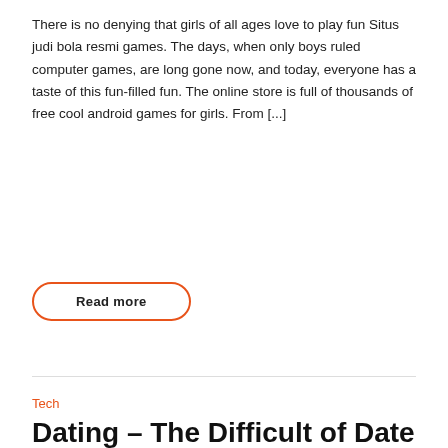There is no denying that girls of all ages love to play fun Situs judi bola resmi games. The days, when only boys ruled computer games, are long gone now, and today, everyone has a taste of this fun-filled fun. The online store is full of thousands of free cool android games for girls. From [...]
Read more
Tech
Dating – The Difficult of Date Analysis
By Andrew • January 23, 2021 • 0
[Figure (screenshot): A data analytics dashboard screenshot with dark blue background, bar charts, pie charts, and various data visualizations.]